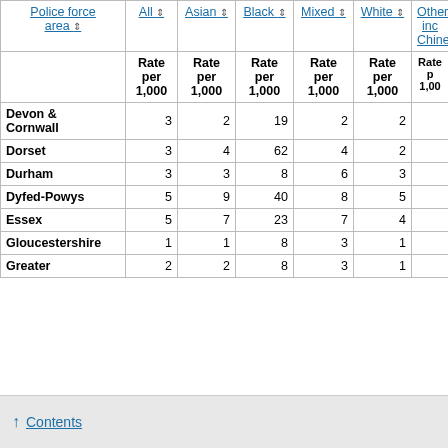| Police force area | All Rate per 1,000 | Asian Rate per 1,000 | Black Rate per 1,000 | Mixed Rate per 1,000 | White Rate per 1,000 | Other inc Chinese Rate per 1,000 |
| --- | --- | --- | --- | --- | --- | --- |
| Devon & Cornwall | 3 | 2 | 19 | 2 | 2 |  |
| Dorset | 3 | 4 | 62 | 4 | 2 |  |
| Durham | 3 | 3 | 8 | 6 | 3 |  |
| Dyfed-Powys | 5 | 9 | 40 | 8 | 5 |  |
| Essex | 5 | 7 | 23 | 7 | 4 |  |
| Gloucestershire | 1 | 1 | 8 | 3 | 1 |  |
| Greater | 2 | 2 | 8 | 3 | 1 |  |
↑ Contents